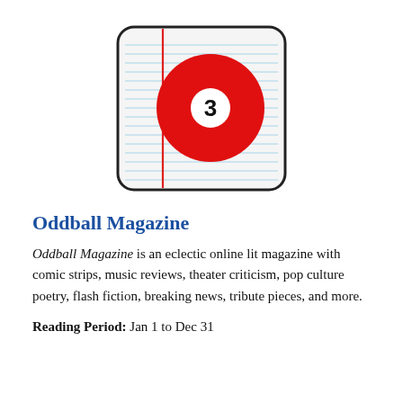[Figure (logo): Logo for Oddball Magazine: a rounded square with horizontal light blue ruled lines and a vertical red margin line, with a red billiard ball numbered 3 in the center.]
Oddball Magazine
Oddball Magazine is an eclectic online lit magazine with comic strips, music reviews, theater criticism, pop culture poetry, flash fiction, breaking news, tribute pieces, and more.
Reading Period:  Jan 1 to Dec 31